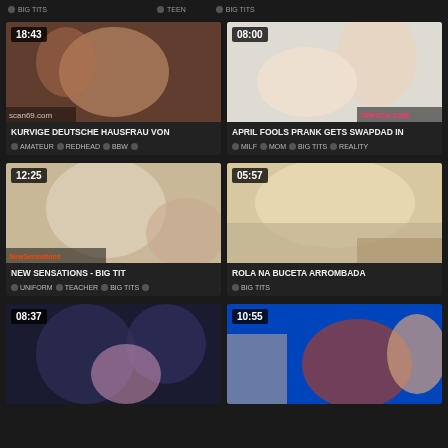BIG TITS | TEEN  BIG TITS
[Figure (photo): Video thumbnail 18:43 - KURVIGE DEUTSCHE HAUSFRAU VON - tags: AMATEUR, REDHEAD, BBW]
[Figure (photo): Video thumbnail 08:00 - APRIL FOOLS PRANK GETS SWAPDAD IN - tags: MILF, MOM, BIG TITS, REALITY]
[Figure (photo): Video thumbnail 12:25 - NEW SENSATIONS - BIG TIT - tags: UNIFORM, TEACHER, BIG TITS]
[Figure (photo): Video thumbnail 05:57 - ROLA NA BUCETA ARROMBADA - tags: BIG TITS]
[Figure (photo): Video thumbnail 08:37 - partial view]
[Figure (photo): Video thumbnail 10:55 - partial view]